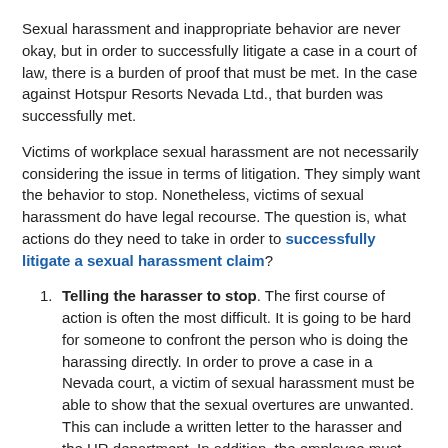Sexual harassment and inappropriate behavior are never okay, but in order to successfully litigate a case in a court of law, there is a burden of proof that must be met. In the case against Hotspur Resorts Nevada Ltd., that burden was successfully met.
Victims of workplace sexual harassment are not necessarily considering the issue in terms of litigation. They simply want the behavior to stop. Nonetheless, victims of sexual harassment do have legal recourse. The question is, what actions do they need to take in order to successfully litigate a sexual harassment claim?
Telling the harasser to stop. The first course of action is often the most difficult. It is going to be hard for someone to confront the person who is doing the harassing directly. In order to prove a case in a Nevada court, a victim of sexual harassment must be able to show that the sexual overtures are unwanted. This can include a written letter to the harasser and the HR department. In addition, the employee must make sure that the company is taking action to remedy the